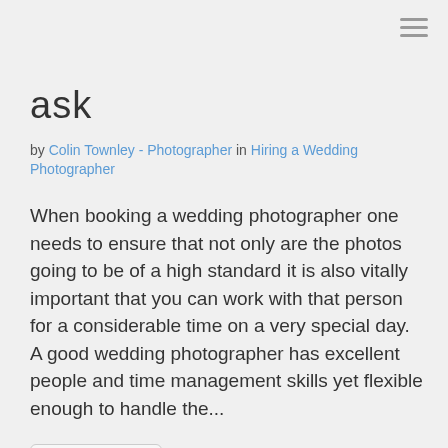ask
by Colin Townley - Photographer in Hiring a Wedding Photographer
When booking a wedding photographer one needs to ensure that not only are the photos going to be of a high standard it is also vitally important that you can work with that person for a considerable time on a very special day. A good wedding photographer has excellent people and time management skills yet flexible enough to handle the...
Read more